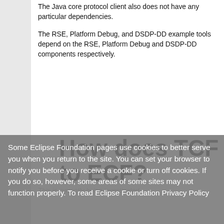The Java core protocol client also does not have any particular dependencies.
The RSE, Platform Debug, and DSDP-DD example tools depend on the RSE, Platform Debug and DSDP-DD components respectively.
How does TCF compare to ECF?
Some Eclipse Foundation pages use cookies to better serve you when you return to the site. You can set your browser to notify you before you receive a cookie or turn off cookies. If you do so, however, some areas of some sites may not function properly. To read Eclipse Foundation Privacy Policy click here. E-Mail to the dsdp-tm-dev@eclipse.org mailing list.
This is currently being investigated.
Where can I ask questions about TCF?
How can I contribute to this FAQ?